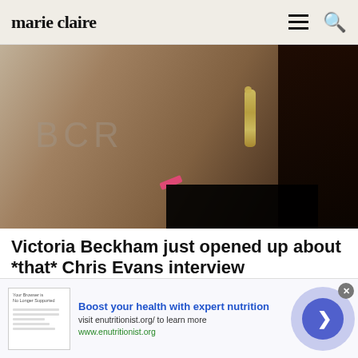marie claire
[Figure (photo): Close-up portrait of Victoria Beckham wearing large jeweled drop earrings and a black off-shoulder dress, against a background with partial 'BCR' text]
Victoria Beckham just opened up about *that* Chris Evans interview
In celebrity news today, former Spice Girl Victoria Beckham has spoken for the first time about the 1999 …
Marie Claire
Boost your health with expert nutrition
visit enutritionist.org/ to learn more
www.enutritionist.org